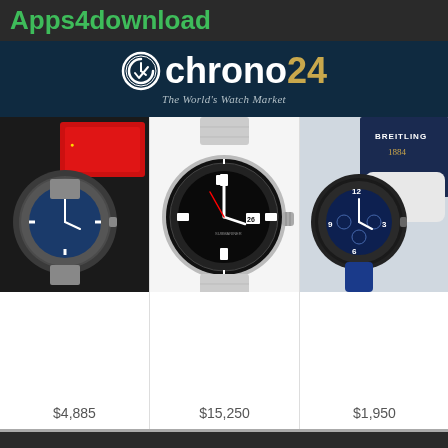Apps4download
[Figure (logo): Chrono24 logo with clock icon and tagline 'The World's Watch Market' on dark blue background]
[Figure (photo): Photo of a luxury steel watch with blue dial held in a gloved hand, with red Rolex-style cards in background]
$4,885
[Figure (photo): Photo of a Rolex Submariner with black ceramic bezel and black dial on steel oyster bracelet]
$15,250
[Figure (photo): Photo of a Breitling watch with blue rubber strap and blue dial, with Breitling 1884 box in background]
$1,950